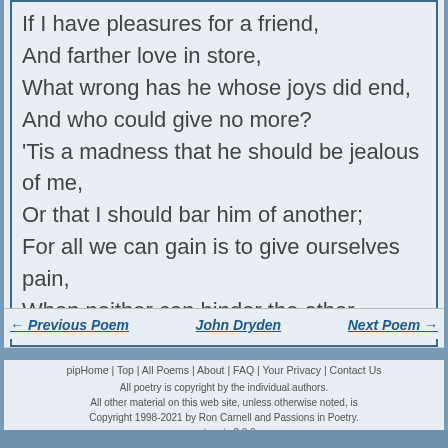If I have pleasures for a friend,
And farther love in store,
What wrong has he whose joys did end,
And who could give no more?
'Tis a madness that he should be jealous of me,
Or that I should bar him of another;
For all we can gain is to give ourselves pain,
When neither can hinder the other.
← Previous Poem    John Dryden    Next Poem →
pipHome | Top | All Poems | About | FAQ | Your Privacy | Contact Us
All poetry is copyright by the individual authors.
All other material on this web site, unless otherwise noted, is Copyright 1998-2021 by Ron Carnell and Passions in Poetry.
- netpoets 2.8.3 -